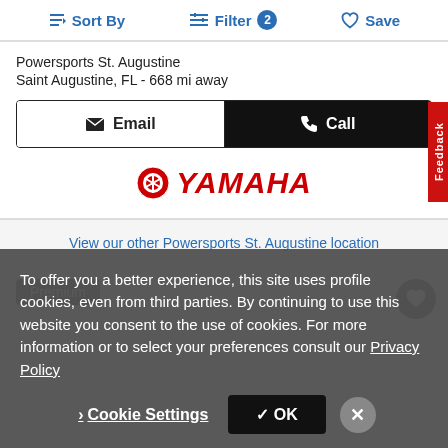Sort By   Filter 2   Save
Powersports St. Augustine
Saint Augustine, FL - 668 mi away
Email   Call
[Figure (logo): Yamaha logo with red tuning fork emblem and red italic YAMAHA text]
View our other Powersports St. Augustine location
Premium
To offer you a better experience, this site uses profile cookies, even from third parties. By continuing to use this website you consent to the use of cookies. For more information or to select your preferences consult our Privacy Policy
Cookie Settings   OK